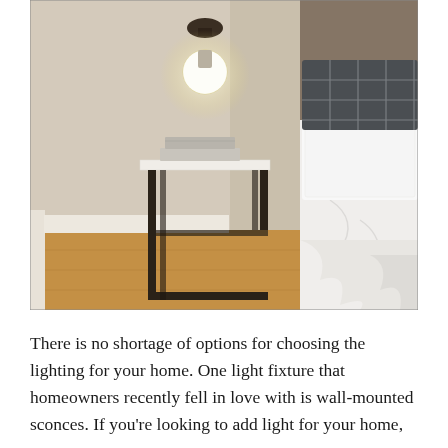[Figure (photo): A modern bedroom scene showing a C-shaped metal side table with a white marble top and two books on it, positioned next to a bed with white sheets and dark gray grid-patterned pillows. A wall sconce with a globe bulb is mounted on the light gray wall above the table. The floor is warm wood.]
There is no shortage of options for choosing the lighting for your home. One light fixture that homeowners recently fell in love with is wall-mounted sconces. If you're looking to add light for your home, you may want